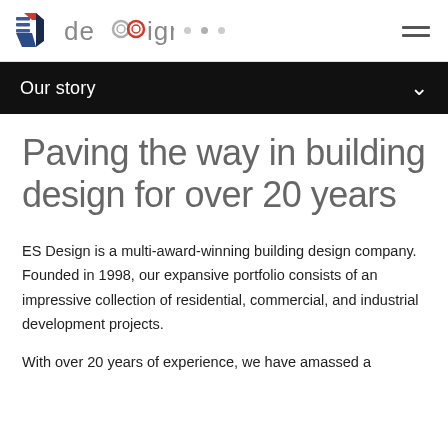[Figure (logo): ES Design company logo — a cube-like geometric icon in blue, red, and dark navy on the left, followed by the text 'design' in gray with stylized 'ss' letters]
Our story
Paving the way in building design for over 20 years
ES Design is a multi-award-winning building design company. Founded in 1998, our expansive portfolio consists of an impressive collection of residential, commercial, and industrial development projects.
With over 20 years of experience, we have amassed a